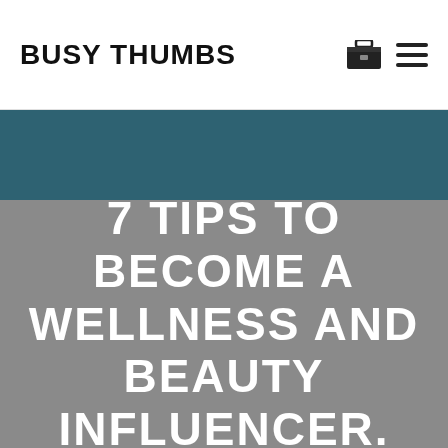BUSY THUMBS
[Figure (illustration): Teal/dark blue horizontal banner bar]
7 TIPS TO BECOME A WELLNESS AND BEAUTY INFLUENCER.